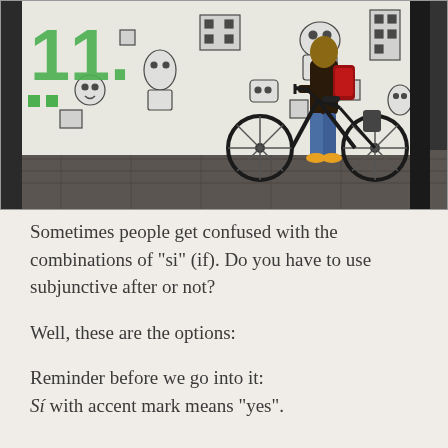[Figure (photo): A person with a backpack walking a bicycle on a sidewalk in front of a wall covered in black and white cartoon/graffiti mural art. Green logo/number visible in upper left. Photo taken on an urban street.]
Sometimes people get confused with the combinations of "si" (if). Do you have to use subjunctive after or not?
Well, these are the options:
Reminder before we go into it:
Sí with accent mark means "yes".